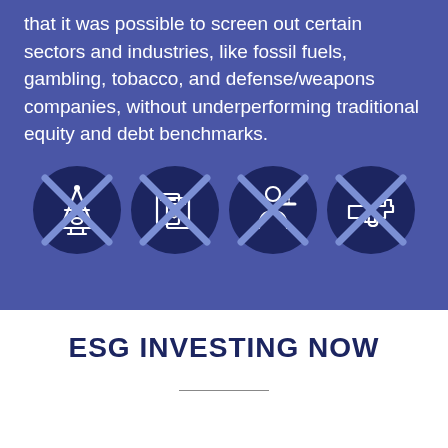that it was possible to screen out certain sectors and industries, like fossil fuels, gambling, tobacco, and defense/weapons companies, without underperforming traditional equity and debt benchmarks.
[Figure (infographic): Four dark navy circular icons each crossed out with an X, representing excluded sectors: fossil fuels (oil derrick), gambling (cards/dice), tobacco (smoking), and defense/weapons (gun).]
ESG INVESTING NOW